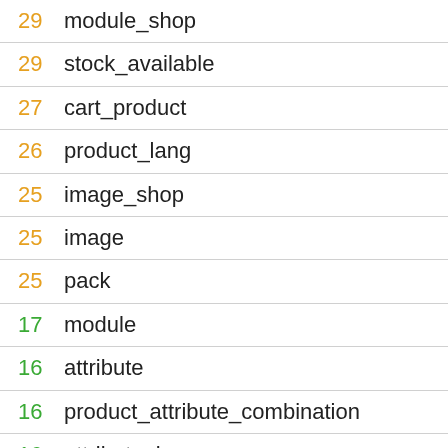29 module_shop
29 stock_available
27 cart_product
26 product_lang
25 image_shop
25 image
25 pack
17 module
16 attribute
16 product_attribute_combination
16 attribute_lang
15 category_lang
14 image_lang
13 attribute_group